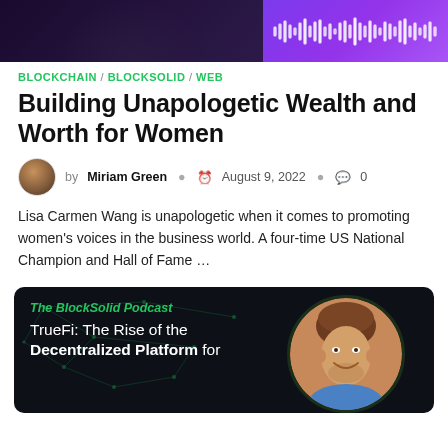[Figure (photo): Top banner image showing a person in dark clothing on the left side with purple/violet background and waveform graphic on the right]
BLOCKCHAIN / BLOCKSOLID / WEB
Building Unapologetic Wealth and Worth for Women
by Miriam Green   August 9, 2022   0
Lisa Carmen Wang is unapologetic when it comes to promoting women's voices in the business world. A four-time US National Champion and Hall of Fame ...
[Figure (photo): Dark background podcast card for 'The BlockSolid Podcast' showing text 'TrueFi: The Rise of the Decentralized Platform for' with a circular photo of a smiling young man with short brown hair wearing a blue shirt, with network/blockchain graphic overlay]